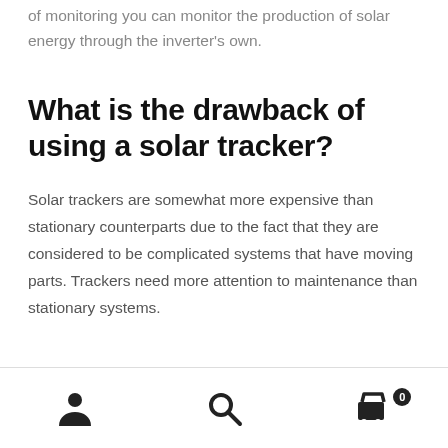of monitoring you can monitor the production of solar energy through the inverter's own.
What is the drawback of using a solar tracker?
Solar trackers are somewhat more expensive than stationary counterparts due to the fact that they are considered to be complicated systems that have moving parts. Trackers need more attention to maintenance than stationary systems.
Navigation footer with user, search, and cart icons